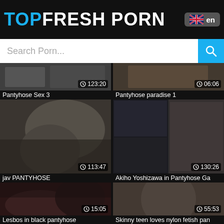TOPFRESH PORN
Search Porn...
[Figure (screenshot): Video thumbnail - Pantyhose Sex 3, duration 123:20]
Pantyhose Sex 3
[Figure (screenshot): Video thumbnail - Pantyhose paradise 1, duration 06:06]
Pantyhose paradise 1
[Figure (screenshot): Video thumbnail - jav PANTYHOSE, duration 113:47]
jav PANTYHOSE
[Figure (screenshot): Video thumbnail - Akiho Yoshizawa in Pantyhose Ga, duration 130:26]
Akiho Yoshizawa in Pantyhose Ga
[Figure (screenshot): Video thumbnail - Lesbos in black pantyhose, duration 15:05]
Lesbos in black pantyhose
[Figure (screenshot): Video thumbnail - Skinny teen loves nylon fetish pan, duration 55:53]
Skinny teen loves nylon fetish pan